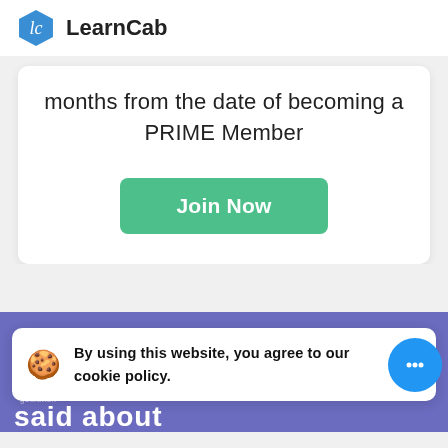LearnCab
months from the date of becoming a PRIME Member
Join Now
By using this website, you agree to our cookie policy.
said about